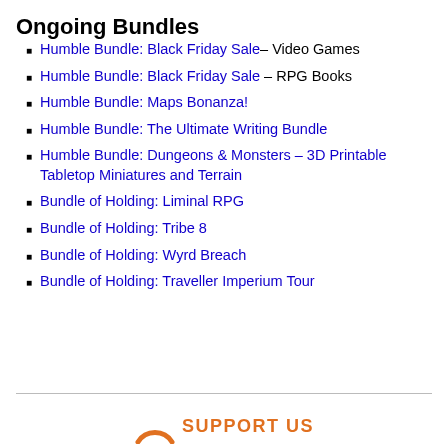Ongoing Bundles
Humble Bundle: Black Friday Sale– Video Games
Humble Bundle: Black Friday Sale – RPG Books
Humble Bundle: Maps Bonanza!
Humble Bundle: The Ultimate Writing Bundle
Humble Bundle: Dungeons & Monsters – 3D Printable Tabletop Miniatures and Terrain
Bundle of Holding: Liminal RPG
Bundle of Holding: Tribe 8
Bundle of Holding: Wyrd Breach
Bundle of Holding: Traveller Imperium Tour
[Figure (logo): SUPPORT US logo with orange arc/swoosh graphic and bold orange text]